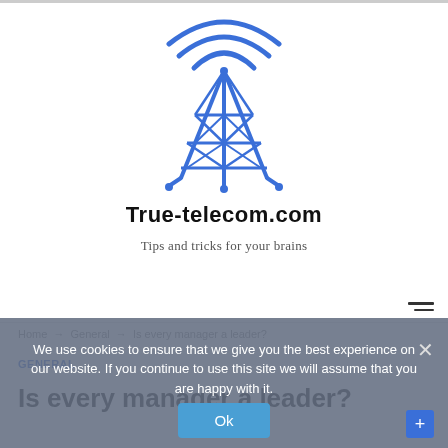[Figure (logo): Blue wireframe radio/cell tower with signal arcs above it, centered at top of page]
True-telecom.com
Tips and tricks for your brains
Home → General → Is every manager a leader?
GENERAL
Is every manager a leader?
We use cookies to ensure that we give you the best experience on our website. If you continue to use this site we will assume that you are happy with it.